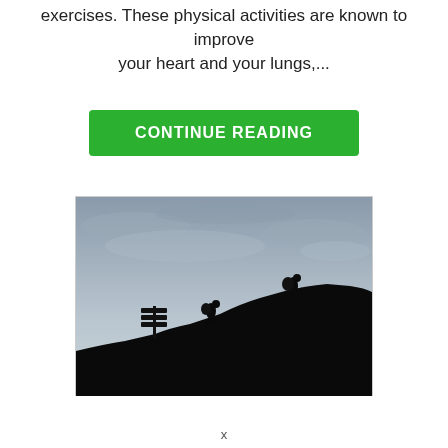exercises. These physical activities are known to improve your heart and your lungs,...
CONTINUE READING
[Figure (photo): Silhouette of two hikers with backpacks climbing a steep dark hill against a grey cloudy sky. A trail sign post is visible on the left side of the hill.]
x